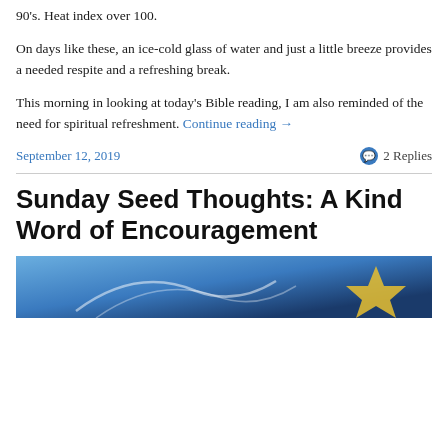90's. Heat index over 100.
On days like these, an ice-cold glass of water and just a little breeze provides a needed respite and a refreshing break.
This morning in looking at today's Bible reading, I am also reminded of the need for spiritual refreshment. Continue reading →
September 12, 2019
2 Replies
Sunday Seed Thoughts: A Kind Word of Encouragement
[Figure (photo): Blue and gold graphic image at the bottom of the page, partially visible.]